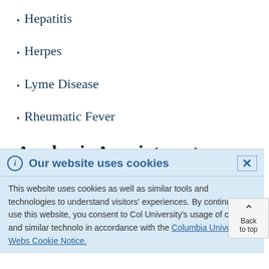Hepatitis
Herpes
Lyme Disease
Rheumatic Fever
Academic Appointments
Professor of Pediatrics at CUMC (partially visible)
Our website uses cookies — This website uses cookies as well as similar tools and technologies to understand visitors' experiences. By continuing to use this website, you consent to Columbia University's usage of cookies and similar technologies in accordance with the Columbia University Website Cookie Notice.